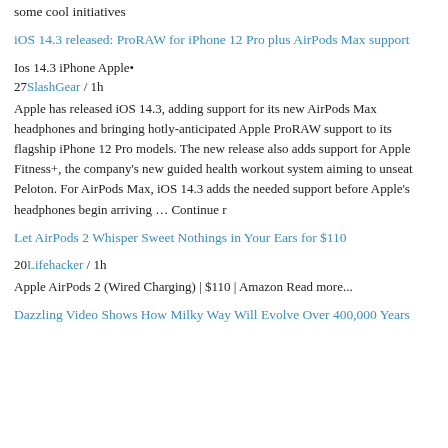some cool initiatives
iOS 14.3 released: ProRAW for iPhone 12 Pro plus AirPods Max support
Ios 14.3 iPhone Apple• 27SlashGear / 1h
Apple has released iOS 14.3, adding support for its new AirPods Max headphones and bringing hotly-anticipated Apple ProRAW support to its flagship iPhone 12 Pro models. The new release also adds support for Apple Fitness+, the company's new guided health workout system aiming to unseat Peloton. For AirPods Max, iOS 14.3 adds the needed support before Apple's headphones begin arriving … Continue r
Let AirPods 2 Whisper Sweet Nothings in Your Ears for $110
20Lifehacker / 1h
Apple AirPods 2 (Wired Charging) | $110 | Amazon Read more...
Dazzling Video Shows How Milky Way Will Evolve Over 400,000 Years